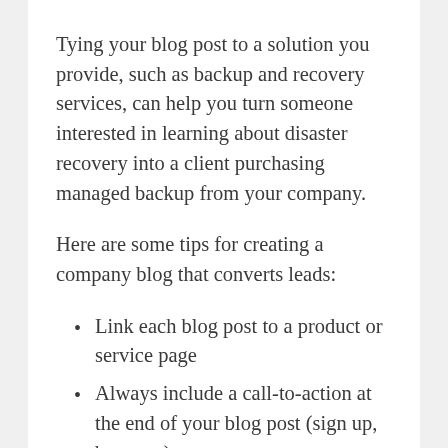Tying your blog post to a solution you provide, such as backup and recovery services, can help you turn someone interested in learning about disaster recovery into a client purchasing managed backup from your company.
Here are some tips for creating a company blog that converts leads:
Link each blog post to a product or service page
Always include a call-to-action at the end of your blog post (sign up, buy, etc.)
Post content on a wide variety of